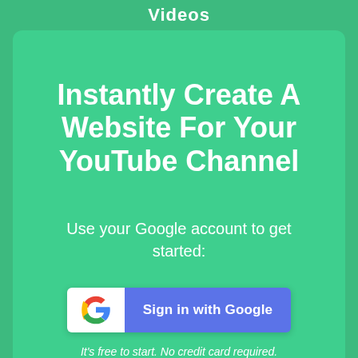Videos
Instantly Create A Website For Your YouTube Channel
Use your Google account to get started:
[Figure (other): Sign in with Google button with Google logo icon on white background and blue button labeled 'Sign in with Google']
It's free to start. No credit card required.